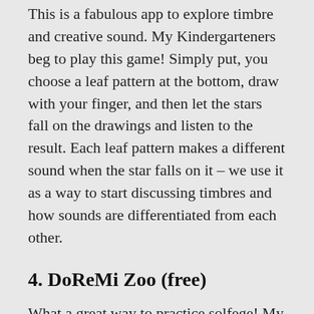This is a fabulous app to explore timbre and creative sound. My Kindergarteners beg to play this game! Simply put, you choose a leaf pattern at the bottom, draw with your finger, and then let the stars fall on the drawings and listen to the result. Each leaf pattern makes a different sound when the star falls on it – we use it as a way to start discussing timbres and how sounds are differentiated from each other.
4. DoReMi Zoo (free)
What a great way to practice solfege! My students use this at stations with flashcards – they play the keyboard on the screen and hear the patterns echoed by the iPad. You can also